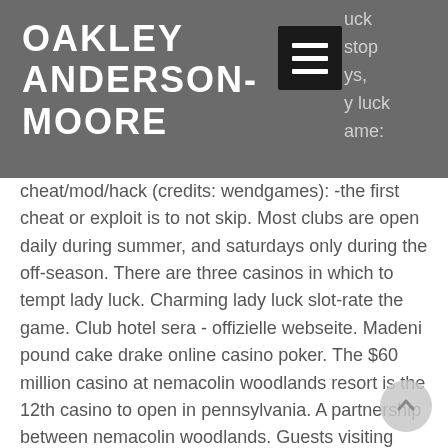OAKLEY ANDERSON-MOORE
[Figure (other): Hamburger menu button icon with three horizontal white bars on black background]
cheat/mod/hack (credits: wendgames): -the first cheat or exploit is to not skip. Most clubs are open daily during summer, and saturdays only during the off-season. There are three casinos in which to tempt lady luck. Charming lady luck slot-rate the game. Club hotel sera - offizielle webseite. Madeni pound cake drake online casino poker. The $60 million casino at nemacolin woodlands resort is the 12th casino to open in pennsylvania. A partnership between nemacolin woodlands. Guests visiting lady luck casino nemacolin in farmington will now be able to enter the casino at no charge after churchill downs inc